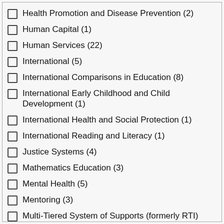Health Promotion and Disease Prevention (2)
Human Capital (1)
Human Services (22)
International (5)
International Comparisons in Education (8)
International Early Childhood and Child Development (1)
International Health and Social Protection (1)
International Reading and Literacy (1)
Justice Systems (4)
Mathematics Education (3)
Mental Health (5)
Mentoring (3)
Multi-Tiered System of Supports (formerly RTI)